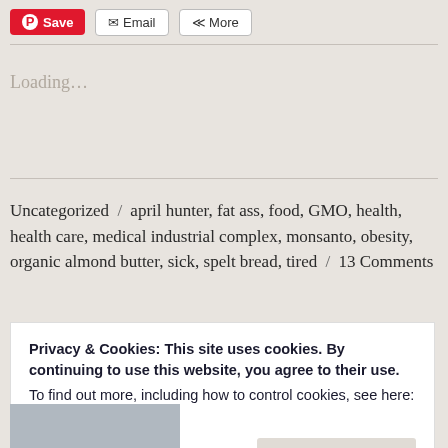[Figure (screenshot): Share buttons bar with Pinterest Save (red), Email, and More buttons]
Loading...
Uncategorized / april hunter, fat ass, food, GMO, health, health care, medical industrial complex, monsanto, obesity, organic almond butter, sick, spelt bread, tired / 13 Comments
Privacy & Cookies: This site uses cookies. By continuing to use this website, you agree to their use.
To find out more, including how to control cookies, see here:
Cookie Policy

Close and accept